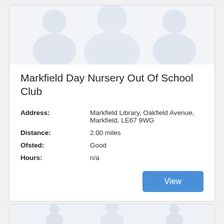[Figure (illustration): Placeholder person silhouette icon on light blue-grey background]
Markfield Day Nursery Out Of School Club
| Address: | Markfield Library, Oakfield Avenue, Markfield, LE67 9WG |
| Distance: | 2.00 miles |
| Ofsted: | Good |
| Hours: | n/a |
View